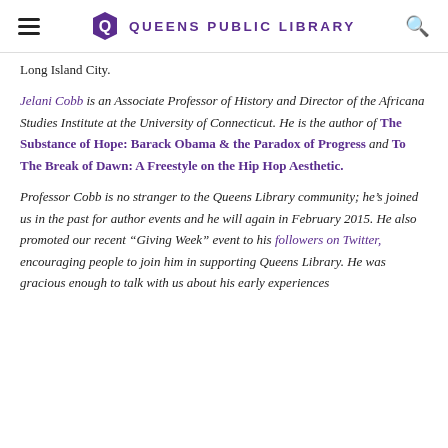QUEENS PUBLIC LIBRARY
Long Island City.
Jelani Cobb is an Associate Professor of History and Director of the Africana Studies Institute at the University of Connecticut. He is the author of The Substance of Hope: Barack Obama & the Paradox of Progress and To The Break of Dawn: A Freestyle on the Hip Hop Aesthetic.
Professor Cobb is no stranger to the Queens Library community; he’s joined us in the past for author events and he will again in February 2015. He also promoted our recent “Giving Week” event to his followers on Twitter, encouraging people to join him in supporting Queens Library. He was gracious enough to talk with us about his early experiences